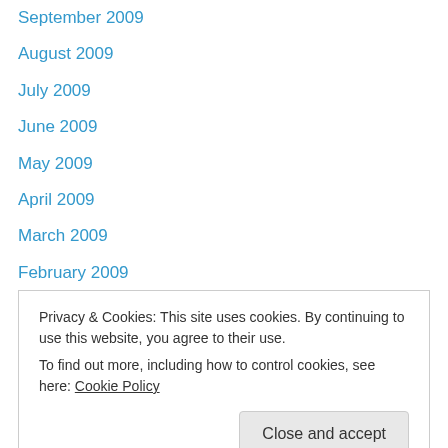September 2009
August 2009
July 2009
June 2009
May 2009
April 2009
March 2009
February 2009
January 2009
December 2008
November 2008
October 2008
September 2008
Privacy & Cookies: This site uses cookies. By continuing to use this website, you agree to their use.
To find out more, including how to control cookies, see here: Cookie Policy
February 2008